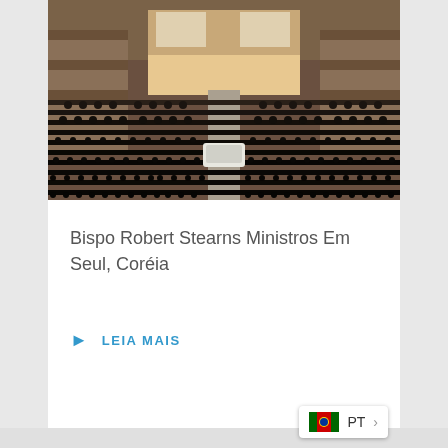[Figure (photo): Large indoor church/auditorium filled with congregation, stage with red decorations and screens visible at front, taken from elevated angle]
Bispo Robert Stearns Ministros Em Seul, Coréia
LEIA MAIS
[Figure (photo): People gathered in front of a building with sign reading ALLIANCE CHRETIENNE ET MISSIONNAIRE DU with EGLISE LOCALE DALENAKINI text visible]
PT